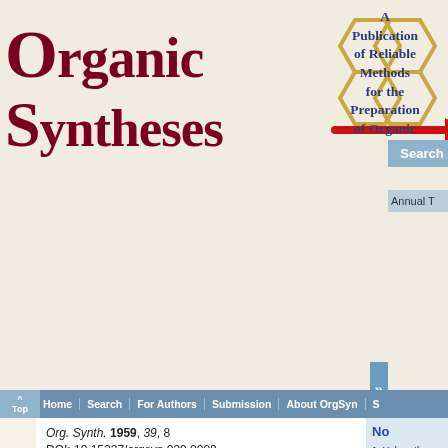[Figure (logo): Organic Syntheses logo with dark red serif text 'Organic Syntheses', honeycomb hexagons in gold/tan, and a red arrow pointing right]
A Publication of Reliable Methods for the Preparation of Organic
[Figure (screenshot): Search button (light blue) and Annual T... button in top right corner]
Home | Search | For Authors | Submission | About OrgSyn | S...
Org. Synth. 1959, 39, 8
DOI: 10.15227/orgsyn.039.0008
2,5-DIAMINO-3,4-
[3,4-Thiophenedica
[Figure (engineering-diagram): Chemical reaction diagram showing tetracyanomethylene reacting with H2S, pyridine in acetone at 0°C to give H2N- product. Structural formula shows NC and CN groups around a double bond.]
1. Unless the product will dissolved has dissolved with sulfur.
2. This operation possible, s results in lo